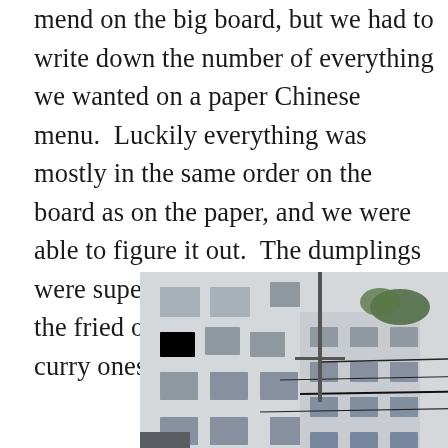mend on the big board, but we had to write down the number of everything we wanted on a paper Chinese menu.  Luckily everything was mostly in the same order on the board as on the paper, and we were able to figure it out.  The dumplings were super tasty!  John really liked the fried ones, James really liked the curry ones, and I loved all of them.
[Figure (photo): A street-level photograph looking up between tall white apartment buildings in what appears to be an Asian city. Power lines cross the narrow gap between the buildings. The sky is overcast and grey. Buildings have balconies, air conditioning units, and urban fixtures typical of dense city housing.]